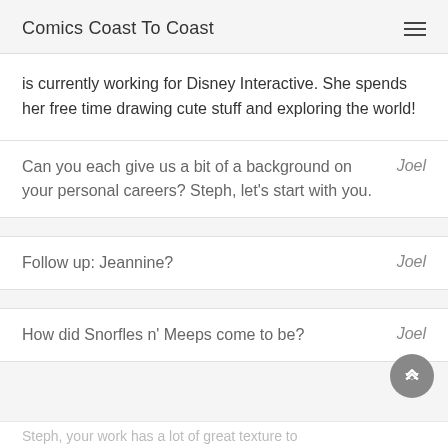Comics Coast To Coast
is currently working for Disney Interactive. She spends her free time drawing cute stuff and exploring the world!
Can you each give us a bit of a background on your personal careers? Steph, let’s start with you. Joel
Follow up: Jeannine? Joel
How did Snorfles n’ Meeps come to be? Joel
Steph, your work has a lot of great texture to